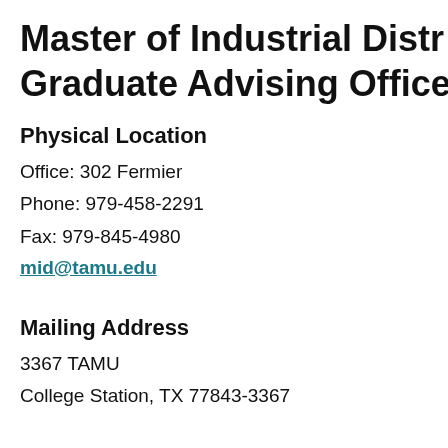Master of Industrial Distribution Graduate Advising Office
Physical Location
Office: 302 Fermier
Phone: 979-458-2291
Fax: 979-845-4980
mid@tamu.edu
Mailing Address
3367 TAMU
College Station, TX 77843-3367